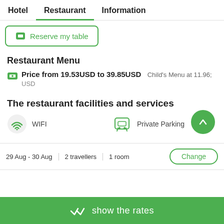Hotel  Restaurant  Information
Reserve my table
Restaurant Menu
Price from 19.53USD to 39.85USD  Child's Menu at 11.96; USD
The restaurant facilities and services
WIFI
Private Parking
29 Aug - 30 Aug  2 travellers  1 room  Change
show the rates